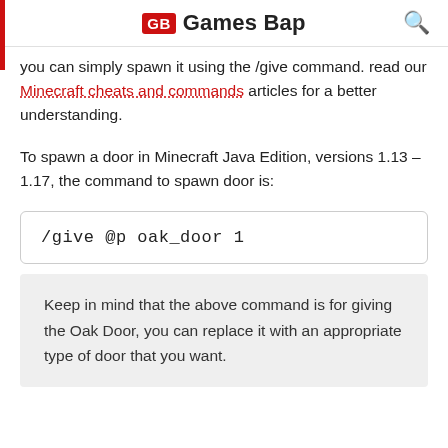GB Games Bap
you can simply spawn it using the /give command. read our Minecraft cheats and commands articles for a better understanding.
To spawn a door in Minecraft Java Edition, versions 1.13 – 1.17, the command to spawn door is:
Keep in mind that the above command is for giving the Oak Door, you can replace it with an appropriate type of door that you want.